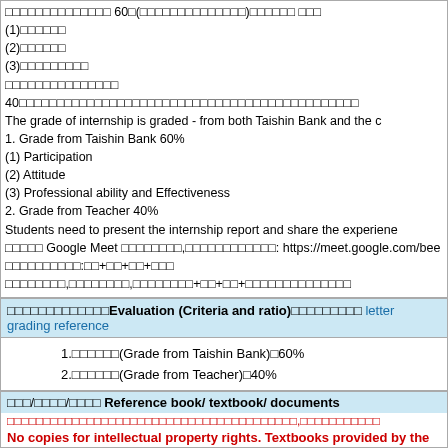1. Grade from Taishin Bank 60%
(1) Participation
(2) Attitude
(3) Professional ability and Effectiveness
2. Grade from Teacher 40%
Students need to present the internship report and share the experience
[Thai text] Google Meet [Thai text]: https://meet.google.com/bee...
[Thai text]
[Thai text]
[Thai]Evaluation (Criteria and ratio)[Thai] letter grading reference
1.[Thai](Grade from Taishin Bank) 60%
2.[Thai](Grade from Teacher) 40%
[Thai]/[Thai]/[Thai] Reference book/ textbook/ documents
[Thai red warning text]
No copies for intellectual property rights. Textbooks provided by the instructor used
[Thai](Provide by internship department)